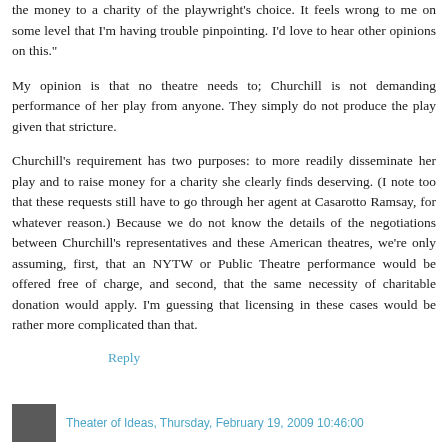the money to a charity of the playwright's choice. It feels wrong to me on some level that I'm having trouble pinpointing. I'd love to hear other opinions on this."
My opinion is that no theatre needs to; Churchill is not demanding performance of her play from anyone. They simply do not produce the play given that stricture.
Churchill's requirement has two purposes: to more readily disseminate her play and to raise money for a charity she clearly finds deserving. (I note too that these requests still have to go through her agent at Casarotto Ramsay, for whatever reason.) Because we do not know the details of the negotiations between Churchill's representatives and these American theatres, we're only assuming, first, that an NYTW or Public Theatre performance would be offered free of charge, and second, that the same necessity of charitable donation would apply. I'm guessing that licensing in these cases would be rather more complicated than that.
Reply
Theater of Ideas, Thursday, February 19, 2009 10:46:00